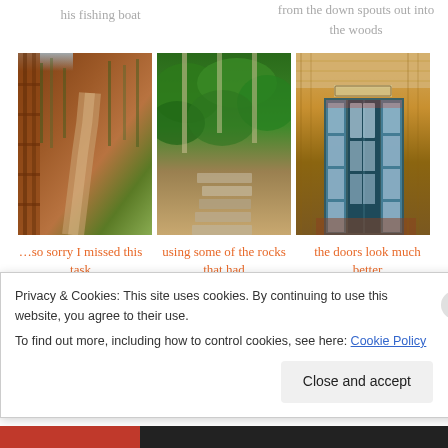his fishing boat
from the down spouts out into the woods
[Figure (photo): View from cabin porch showing a dirt path winding through woods with reddish dirt and trees]
[Figure (photo): Stone steps path through lush green forest undergrowth]
[Figure (photo): Interior cabin entrance with decorative glass French doors and wood paneling]
…so sorry I missed this task
using some of the rocks that had
the doors look much better
Privacy & Cookies: This site uses cookies. By continuing to use this website, you agree to their use.
To find out more, including how to control cookies, see here: Cookie Policy
Close and accept